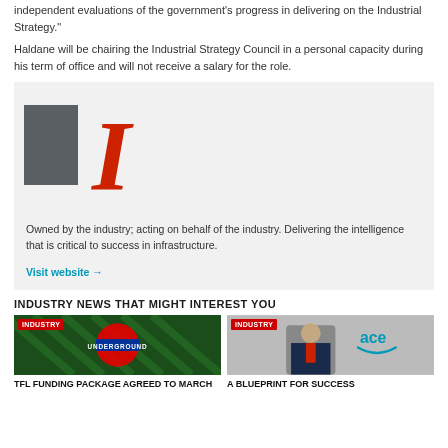independent evaluations of the government's progress in delivering on the Industrial Strategy."
Haldane will be chairing the Industrial Strategy Council in a personal capacity during his term of office and will not receive a salary for the role.
[Figure (logo): Infrastructure Intelligence logo — grey rectangle and large red letter I on light grey background with tagline and Visit website link]
Owned by the industry; acting on behalf of the industry. Delivering the intelligence that is critical to success in infrastructure.
Visit website →
INDUSTRY NEWS THAT MIGHT INTEREST YOU
[Figure (photo): London Underground roundel sign in green lit environment with UNDERGROUND label across it, INDUSTRY badge top left]
[Figure (photo): Man in suit with ACE logo in background, INDUSTRY badge top left]
TFL FUNDING PACKAGE AGREED TO MARCH
A BLUEPRINT FOR SUCCESS